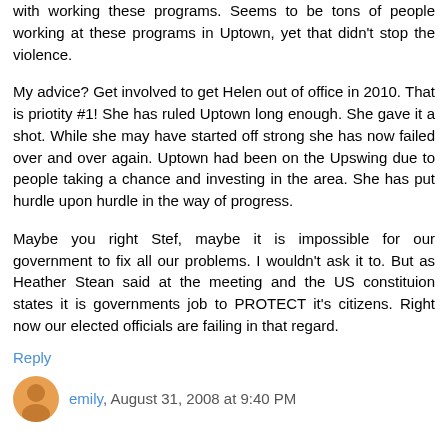with working these programs. Seems to be tons of people working at these programs in Uptown, yet that didn't stop the violence.
My advice? Get involved to get Helen out of office in 2010. That is priotity #1! She has ruled Uptown long enough. She gave it a shot. While she may have started off strong she has now failed over and over again. Uptown had been on the Upswing due to people taking a chance and investing in the area. She has put hurdle upon hurdle in the way of progress.
Maybe you right Stef, maybe it is impossible for our government to fix all our problems. I wouldn't ask it to. But as Heather Stean said at the meeting and the US constituion states it is governments job to PROTECT it's citizens. Right now our elected officials are failing in that regard.
Reply
emily, August 31, 2008 at 9:40 PM